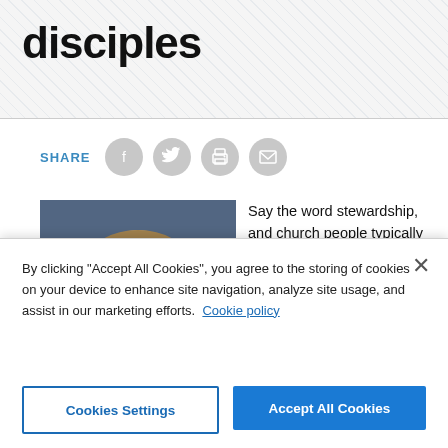disciples
SHARE
[Figure (photo): Headshot of a middle-aged man with brown hair wearing a dark suit jacket and white shirt, blue background]
Say the word stewardship, and church people typically visualize an offering plate.

Each year, many pastors preach their "God loves a cheerful giver" sermons from 2 Corinthians
By clicking “Accept All Cookies”, you agree to the storing of cookies on your device to enhance site navigation, analyze site usage, and assist in our marketing efforts. Cookie policy
Cookies Settings
Accept All Cookies